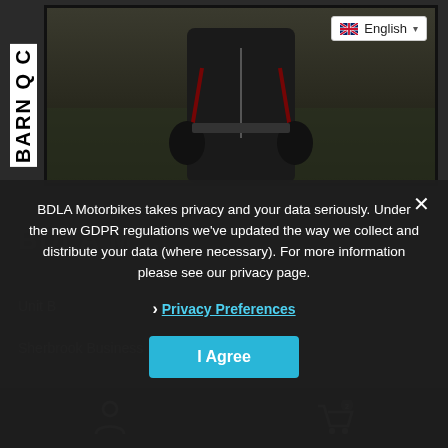[Figure (screenshot): Website screenshot showing a motorcycle gear retailer (BARN/BDLA Motorbikes) with an English language selector, a photo of a person in motorcycle leathers, and a GDPR privacy consent modal overlay with close button, Privacy Preferences link, and I Agree button.]
BARN Q C
English
BDLA Motorbikes takes privacy and your data seriously. Under the new GDPR regulations we've updated the way we collect and distribute your data (where necessary). For more information please see our privacy page.
Unit B
Sherbrook Business
Privacy Preferences
I Agree